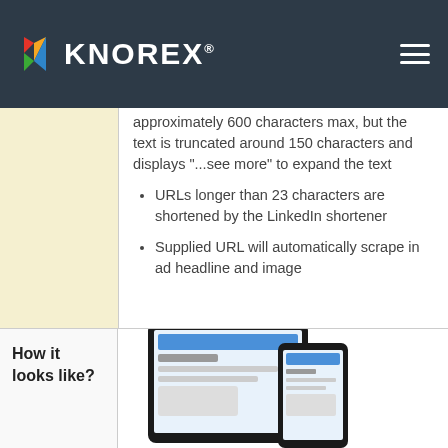KNOREX®
approximately 600 characters max, but the text is truncated around 150 characters and displays "...see more" to expand the text
URLs longer than 23 characters are shortened by the LinkedIn shortener
Supplied URL will automatically scrape in ad headline and image
How it looks like?
[Figure (screenshot): Screenshot of a LinkedIn ad displayed on tablet and mobile devices]